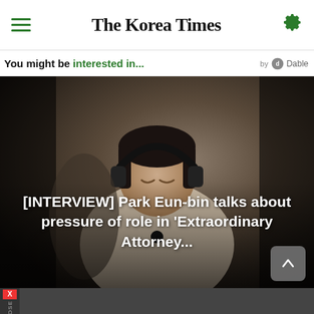The Korea Times
You might be interested in... by Dable
[Figure (photo): A young woman wearing headphones and a light beige jacket, sitting in what appears to be a train or bus, with eyes closed and listening to music. Dark background.]
[INTERVIEW] Park Eun-bin talks about pressure of role in 'Extraordinary Attorney...